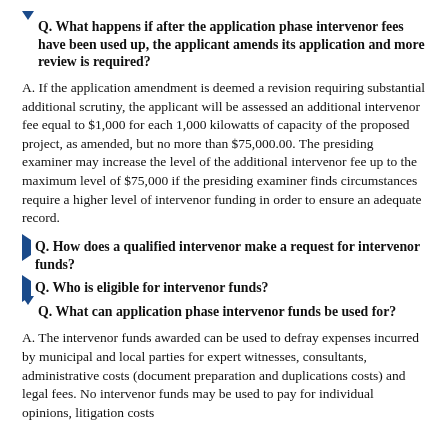Q. What happens if after the application phase intervenor fees have been used up, the applicant amends its application and more review is required?
A. If the application amendment is deemed a revision requiring substantial additional scrutiny, the applicant will be assessed an additional intervenor fee equal to $1,000 for each 1,000 kilowatts of capacity of the proposed project, as amended, but no more than $75,000.00. The presiding examiner may increase the level of the additional intervenor fee up to the maximum level of $75,000 if the presiding examiner finds circumstances require a higher level of intervenor funding in order to ensure an adequate record.
Q. How does a qualified intervenor make a request for intervenor funds?
Q. Who is eligible for intervenor funds?
Q. What can application phase intervenor funds be used for?
A. The intervenor funds awarded can be used to defray expenses incurred by municipal and local parties for expert witnesses, consultants, administrative costs (document preparation and duplications costs) and legal fees. No intervenor funds may be used to pay for individual opinions, litigation costs...